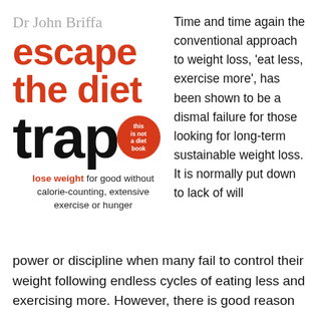[Figure (illustration): Book cover of 'Escape the Diet Trap' by Dr John Briffa, showing the title in large red and black text with an orange circular badge reading 'this is not a diet book', and subtitle 'lose weight for good without calorie-counting, extensive exercise or hunger']
Time and time again the conventional approach to weight loss, 'eat less, exercise more', has been shown to be a dismal failure for those looking for long-term sustainable weight loss. It is normally put down to lack of will power or discipline when many fail to control their weight following endless cycles of eating less and exercising more. However, there is good reason to believe that it is not so much that diets don't work